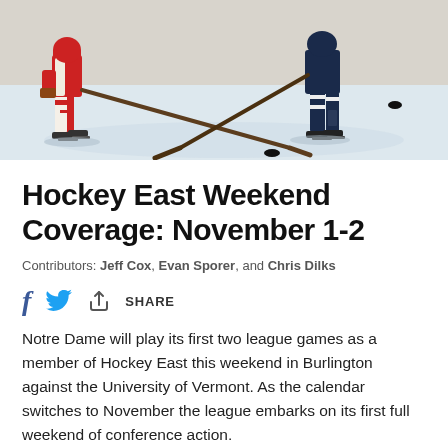[Figure (photo): Ice hockey action photo showing two players from opposing teams on the ice. One player wears a red and white uniform, the other wears a dark navy uniform. Both are skating with sticks on the ice, with a puck visible.]
Hockey East Weekend Coverage: November 1-2
Contributors: Jeff Cox, Evan Sporer, and Chris Dilks
[Figure (infographic): Social share bar with Facebook (f), Twitter bird icon, and a share icon with the word SHARE]
Notre Dame will play its first two league games as a member of Hockey East this weekend in Burlington against the University of Vermont. As the calendar switches to November the league embarks on its first full weekend of conference action.